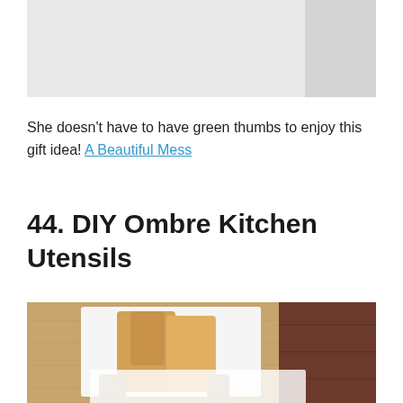[Figure (photo): Light gray/white background image, partially visible at top of page, with a vertical dividing line near the right side creating two sections.]
She doesn't have to have green thumbs to enjoy this gift idea! A Beautiful Mess
44. DIY Ombre Kitchen Utensils
[Figure (photo): Photo of wooden kitchen utensils (cutting boards and spatulas) on a light surface, with a dark wood background on the right side. White/cream colored kitchen tools are visible at the bottom.]